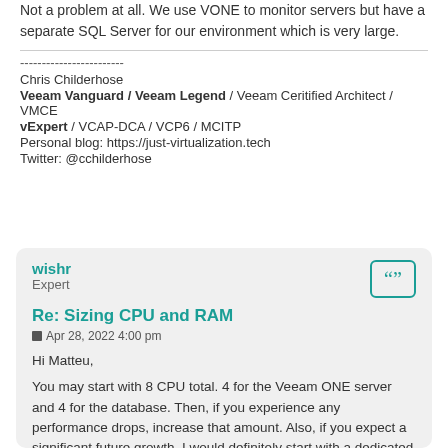Not a problem at all. We use VONE to monitor servers but have a separate SQL Server for our environment which is very large.
------------------------
Chris Childerhose
Veeam Vanguard / Veeam Legend / Veeam Ceritified Architect / VMCE
vExpert / VCAP-DCA / VCP6 / MCITP
Personal blog: https://just-virtualization.tech
Twitter: @cchilderhose
wishr
Expert
Re: Sizing CPU and RAM
Apr 28, 2022 4:00 pm
Hi Matteu,
You may start with 8 CPU total. 4 for the Veeam ONE server and 4 for the database. Then, if you experience any performance drops, increase that amount. Also, if you expect a significant future growth, I would definitely start with a dedicated machine for housing Veeam ONE database.